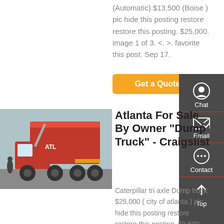(Automatic) $13,500 (Boise ) pic hide this posting restore restore this posting. $25,000. image 1 of 3. <. >. favorite this post. Sep 17.
[Figure (other): Orange 'Get a Quote' button]
[Figure (other): Dark sidebar with Chat, Email, Contact, Top icons]
[Figure (photo): Red dump truck parked on street]
Atlanta For Sale By Owner "Dump Truck" - Craigslist
Caterpillar tri axle Dump truck. $25,000 ( city of atlanta ) pic hide this posting restore restore this posting. $9,500. favorite this post. Aug 20. 1987 GMC